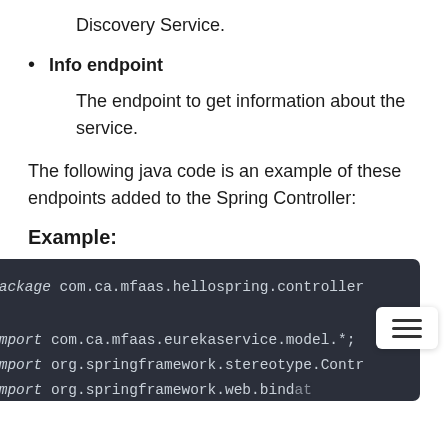Discovery Service.
Info endpoint
The endpoint to get information about the service.
The following java code is an example of these endpoints added to the Spring Controller:
Example:
[Figure (screenshot): Dark-themed code block showing Java package and import statements: package com.ca.mfaas.hellospring.controller; import com.ca.mfaas.eurekaservice.model.*; import org.springframework.stereotype.Contr... import org.springframework.web.bind...at import org.springframework.web.bind.annotat... import springfox.documentation.annotation...]